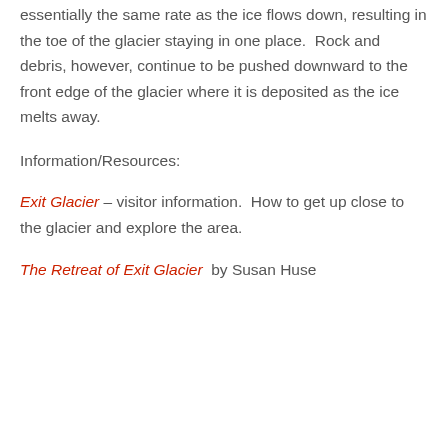essentially the same rate as the ice flows down, resulting in the toe of the glacier staying in one place.  Rock and debris, however, continue to be pushed downward to the front edge of the glacier where it is deposited as the ice melts away.
Information/Resources:
Exit Glacier – visitor information.  How to get up close to the glacier and explore the area.
The Retreat of Exit Glacier  by Susan Huse